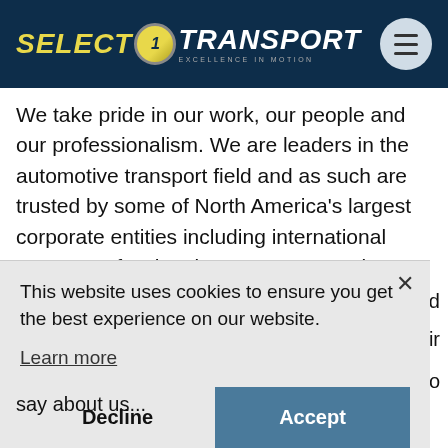SELECT 1 TRANSPORT — EXCELLENCE IN MOTION
We take pride in our work, our people and our professionalism. We are leaders in the automotive transport field and as such are trusted by some of North America's largest corporate entities including international OEMs, professional sports teams and fortune 500 companies.
This website uses cookies to ensure you get the best experience on our website.
Learn more
Decline
Accept
say about us...